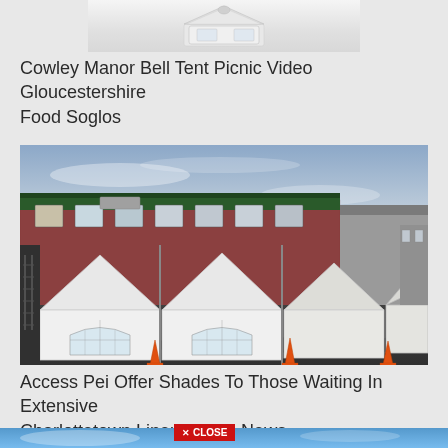[Figure (photo): Top portion of a white bell tent / product image on white background, partially cropped at top]
Cowley Manor Bell Tent Picnic Video Gloucestershire Food Soglos
[Figure (photo): Row of white event tents/gazebos set up in a parking lot in front of a brick building, with orange traffic cones in front, photographed at dusk or early evening]
Access Pei Offer Shades To Those Waiting In Extensive Charlottetown Lineups Cbc News
[Figure (photo): Bottom strip of sky/outdoor scene, partially visible, with a red CLOSE button overlay]